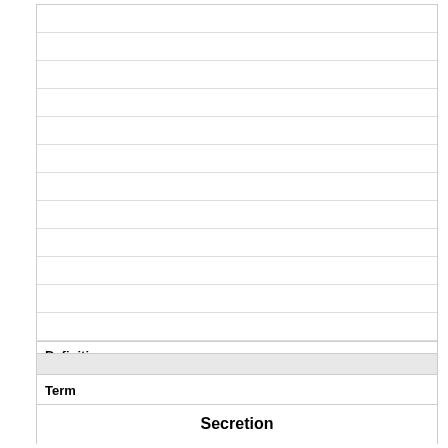Definition
tubule in which glands secrete products
Term
Secretion